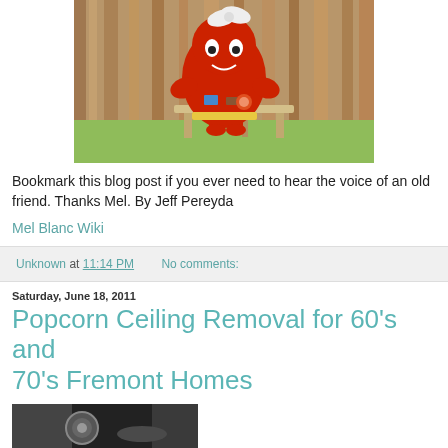[Figure (illustration): Cartoon character (red blob creature) sitting at a school desk with items on it, against a wood-paneled wall background]
Bookmark this blog post if you ever need to hear the voice of an old friend. Thanks Mel. By Jeff Pereyda
Mel Blanc Wiki
Unknown at 11:14 PM   No comments:
Saturday, June 18, 2011
Popcorn Ceiling Removal for 60's and 70's Fremont Homes
[Figure (photo): Dark photo showing what appears to be car interior or mechanical detail]